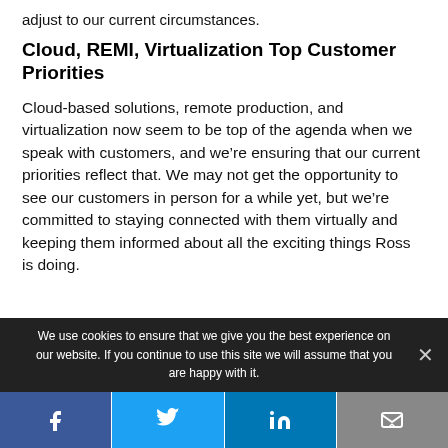adjust to our current circumstances.
Cloud, REMI, Virtualization Top Customer Priorities
Cloud-based solutions, remote production, and virtualization now seem to be top of the agenda when we speak with customers, and we’re ensuring that our current priorities reflect that. We may not get the opportunity to see our customers in person for a while yet, but we’re committed to staying connected with them virtually and keeping them informed about all the exciting things Ross is doing.
We use cookies to ensure that we give you the best experience on our website. If you continue to use this site we will assume that you are happy with it.
[Figure (other): Social sharing bar with Facebook, Twitter, LinkedIn, and email icons]